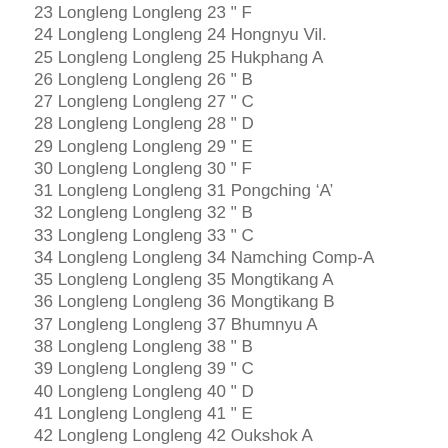23 Longleng Longleng 23 " F
24 Longleng Longleng 24 Hongnyu Vil.
25 Longleng Longleng 25 Hukphang A
26 Longleng Longleng 26 " B
27 Longleng Longleng 27 " C
28 Longleng Longleng 28 " D
29 Longleng Longleng 29 " E
30 Longleng Longleng 30 " F
31 Longleng Longleng 31 Pongching ‘A’
32 Longleng Longleng 32 " B
33 Longleng Longleng 33 " C
34 Longleng Longleng 34 Namching Comp-A
35 Longleng Longleng 35 Mongtikang A
36 Longleng Longleng 36 Mongtikang B
37 Longleng Longleng 37 Bhumnyu A
38 Longleng Longleng 38 " B
39 Longleng Longleng 39 " C
40 Longleng Longleng 40 " D
41 Longleng Longleng 41 " E
42 Longleng Longleng 42 Oukshok A
43 Longleng Longleng 43 " B